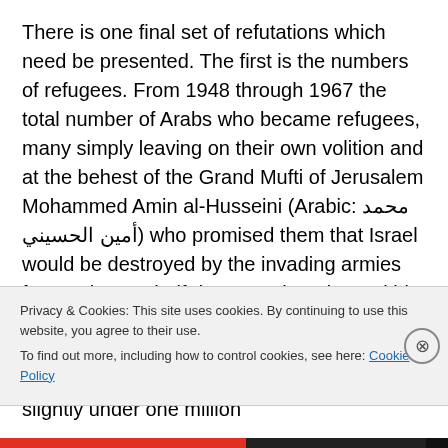There is one final set of refutations which need be presented. The first is the numbers of refugees. From 1948 through 1967 the total number of Arabs who became refugees, many simply leaving on their own volition and at the behest of the Grand Mufti of Jerusalem Mohammed Amin al-Husseini (Arabic: محمد أمين الحسيني) who promised them that Israel would be destroyed by the invading armies from at least a half dozen Arab nations within a few days of their 1948 invasion intended as a genocide of the Jews and they would gain a share of all the Jew's treasures, came out slightly under one million
Privacy & Cookies: This site uses cookies. By continuing to use this website, you agree to their use.
To find out more, including how to control cookies, see here: Cookie Policy
Close and accept